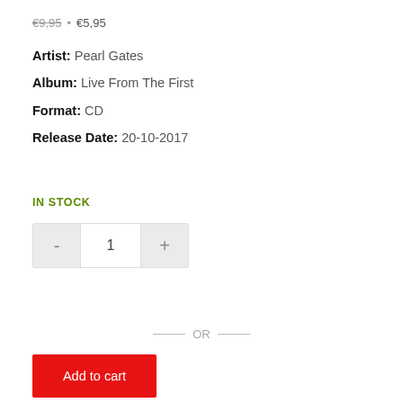€9,95 · €5,95
Artist: Pearl Gates
Album: Live From The First
Format: CD
Release Date: 20-10-2017
IN STOCK
- 1 +
— OR —
Add to cart